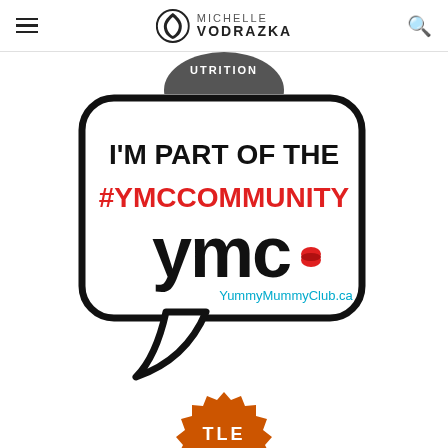Michelle Vodrazka
[Figure (logo): Partially visible circular nutrition logo at top]
[Figure (logo): YMC speech bubble badge: I'M PART OF THE #YMCCOMMUNITY ymc YummyMummyClub.ca]
[Figure (logo): Partially visible orange badge at bottom]